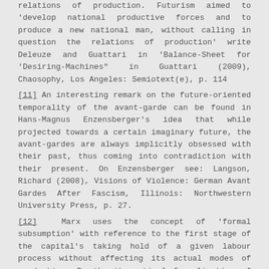relations of production. Futurism aimed to 'develop national productive forces and to produce a new national man, without calling in question the relations of production' write Deleuze and Guattari in 'Balance-Sheet for 'Desiring-Machines" in Guattari (2009), Chaosophy, Los Angeles: Semiotext(e), p. 114
[11] An interesting remark on the future-oriented temporality of the avant-garde can be found in Hans-Magnus Enzensberger's idea that while projected towards a certain imaginary future, the avant-gardes are always implicitly obsessed with their past, thus coming into contradiction with their present. On Enzensberger see: Langson, Richard (2008), Visions of Violence: German Avant Gardes After Fascism, Illinois: Northwestern University Press, p. 27.
[12] Marx uses the concept of 'formal subsumption' with reference to the first stage of the capital's taking hold of a given labour process without affecting its actual modes of production. By the theoretical formalization of their failure, modern (art) institutions included the avant-gardes' experience in 'the history of the modern', therefore sterilizing their anti-modern and anti-